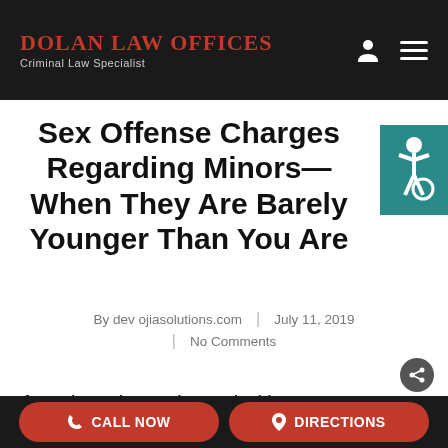DOLAN LAW OFFICES — Criminal Law Specialist
Sex Offense Charges Regarding Minors—When They Are Barely Younger Than You Are
By dev ojiasolutions.com | July 11, 2019 | No Comments
If you have been charged with a sex
CALL NOW  DIRECTIONS